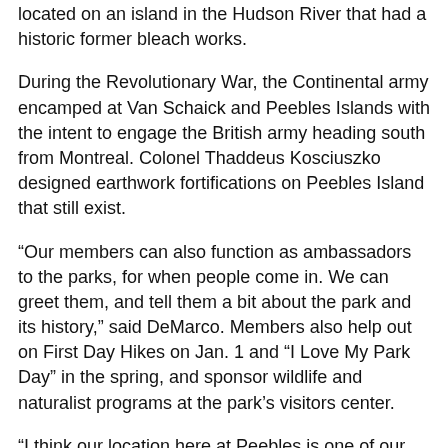located on an island in the Hudson River that had a historic former bleach works.
During the Revolutionary War, the Continental army encamped at Van Schaick and Peebles Islands with the intent to engage the British army heading south from Montreal. Colonel Thaddeus Kosciuszko designed earthwork fortifications on Peebles Island that still exist.
“Our members can also function as ambassadors to the parks, for when people come in. We can greet them, and tell them a bit about the park and its history,” said DeMarco. Members also help out on First Day Hikes on Jan. 1 and “I Love My Park Day” in the spring, and sponsor wildlife and naturalist programs at the park’s visitors center.
“I think our location here at Peebles is one of our advantages. We are easy to reach for a lot of people,” he said.